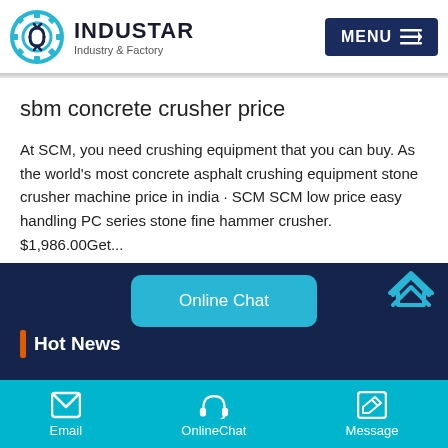INDUSTAR — Industry & Factory | MENU
sbm concrete crusher price
At SCM, you need crushing equipment that you can buy. As the world's most concrete asphalt crushing equipment stone crusher machine price in india · SCM SCM low price easy handling PC series stone fine hammer crusher. $1,986.00Get...
[Figure (other): Online Chat button (teal rounded rectangle)]
[Figure (other): Dark navy footer area with up-arrow chevron and Hot News label]
Email | OnlineChat | Message